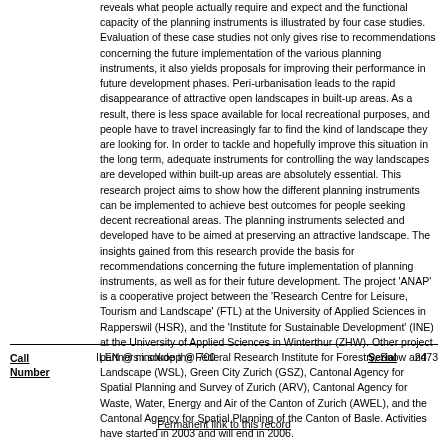reveals what people actually require and expect and the functional capacity of the planning instruments is illustrated by four case studies. Evaluation of these case studies not only gives rise to recommendations concerning the future implementation of the various planning instruments, it also yields proposals for improving their performance in future development phases. Peri-urbanisation leads to the rapid disappearance of attractive open landscapes in built-up areas. As a result, there is less space available for local recreational purposes, and people have to travel increasingly far to find the kind of landscape they are looking for. In order to tackle and hopefully improve this situation in the long term, adequate instruments for controlling the way landscapes are developed within built-up areas are absolutely essential. This research project aims to show how the different planning instruments can be implemented to achieve best outcomes for people seeking decent recreational areas. The planning instruments selected and developed have to be aimed at preserving an attractive landscape. The insights gained from this research provide the basis for recommendations concerning the future implementation of planning instruments, as well as for their future development. The project 'ANAP' is a cooperative project between the 'Research Centre for Leisure, Tourism and Landscape' (FTL) at the University of Applied Sciences in Rapperswil (HSR), and the 'Institute for Sustainable Development' (INE) at the University of Applied Sciences in Winterthur (ZHW). Other project partners include the Federal Research Institute for Forestry, Snow and Landscape (WSL), Green City Zurich (GSZ), Cantonal Agency for Spatial Planning and Survey of Zurich (ARV), Cantonal Agency for Waste, Water, Energy and Air of the Canton of Zurich (AWEL), and the Cantonal Agency for Spatial Planning of the Canton of Basle. Activities have started in 2003 and will end in 2006.
Call Number: ILEN @ m.sokopp @ 700    Serial: 2473
Permanent link to this record